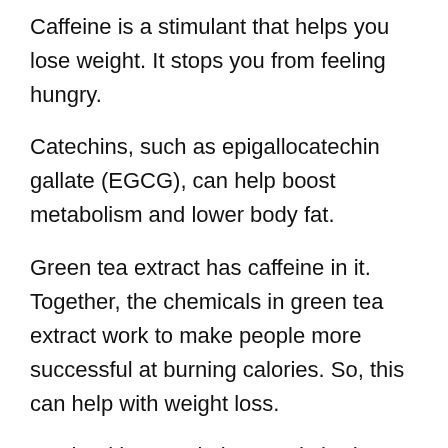Caffeine is a stimulant that helps you lose weight. It stops you from feeling hungry.
Catechins, such as epigallocatechin gallate (EGCG), can help boost metabolism and lower body fat.
Green tea extract has caffeine in it. Together, the chemicals in green tea extract work to make people more successful at burning calories. So, this can help with weight loss.
Ten healthy people in a study had 4% more calories burned when they drank a beverage with EGCG and caffeine.